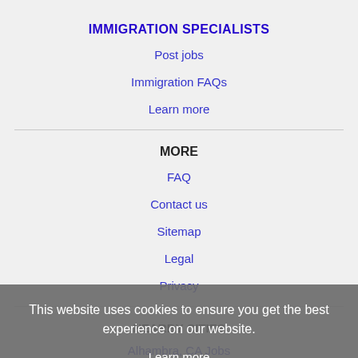IMMIGRATION SPECIALISTS
Post jobs
Immigration FAQs
Learn more
MORE
FAQ
Contact us
Sitemap
Legal
Privacy
This website uses cookies to ensure you get the best experience on our website.
Learn more
Got it!
NEARBY CITIES
Alhambra, CA Jobs
Aliso Viejo, CA Jobs
Altadena, CA Jobs